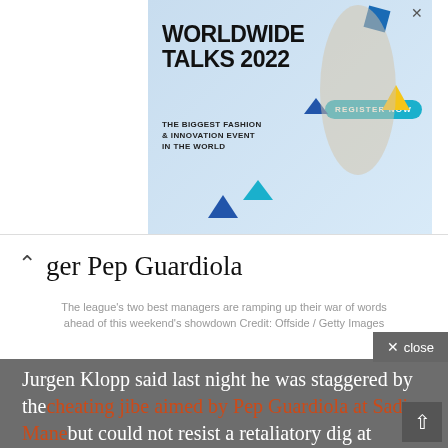[Figure (illustration): Worldwide Talks 2022 advertisement banner — fashion/innovation event with decorative geometric shapes and a model figure. Includes 'REGISTER NOW' button in teal.]
ger Pep Guardiola
The league's two best managers are ramping up their war of words ahead of this weekend's showdown Credit: Offside / Getty Images
Jurgen Klopp said last night he was staggered by the cheating jibe aimed by Pep Guardiola at Sadio Mane but could not resist a retaliatory dig at Manchester City's reputation for tactical fouling.
This weekend's Premier League showdown between the title rivals has all the makings of an epic grudge match after Liverpool manager Klopp queried why City counterpart Guardiola was talking about the